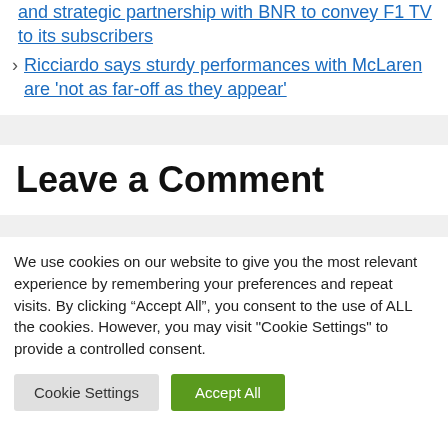and strategic partnership with BNR to convey F1 TV to its subscribers
Ricciardo says sturdy performances with McLaren are 'not as far-off as they appear'
Leave a Comment
We use cookies on our website to give you the most relevant experience by remembering your preferences and repeat visits. By clicking “Accept All”, you consent to the use of ALL the cookies. However, you may visit "Cookie Settings" to provide a controlled consent.